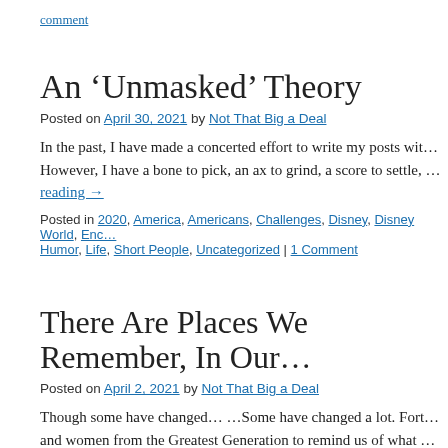comment
An ‘Unmasked’ Theory
Posted on April 30, 2021 by Not That Big a Deal
In the past, I have made a concerted effort to write my posts wit… However, I have a bone to pick, an ax to grind, a score to settle, … Continue reading →
Posted in 2020, America, Americans, Challenges, Disney, Disney World, Enc… Humor, Life, Short People, Uncategorized | 1 Comment
There Are Places We Remember, In Our…
Posted on April 2, 2021 by Not That Big a Deal
Though some have changed… …Some have changed a lot. Fort… and women from the Greatest Generation to remind us of what … what is still important now. They are the … Continue reading →